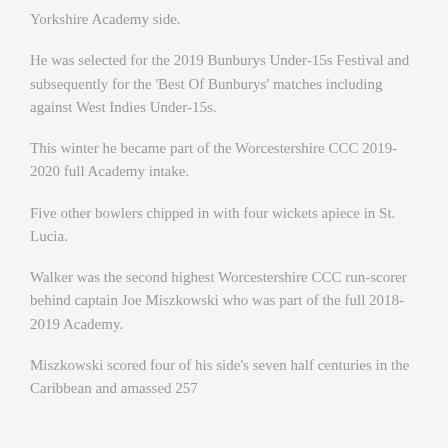Yorkshire Academy side.
He was selected for the 2019 Bunburys Under-15s Festival and subsequently for the 'Best Of Bunburys' matches including against West Indies Under-15s.
This winter he became part of the Worcestershire CCC 2019-2020 full Academy intake.
Five other bowlers chipped in with four wickets apiece in St. Lucia.
Walker was the second highest Worcestershire CCC run-scorer behind captain Joe Miszkowski who was part of the full 2018-2019 Academy.
Miszkowski scored four of his side's seven half centuries in the Caribbean and amassed 257